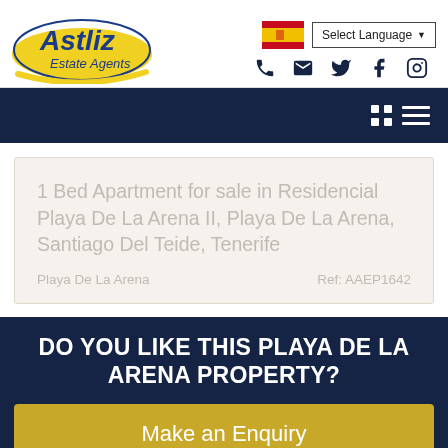[Figure (logo): Astliz Estate Agents logo — oval yellow shape with blue text 'Astliz' and italic 'Estate Agents']
1 Bed Apartment for sale in Residencial Playa De La Arena II, Playa De La Arena, Santiago Del Teide, Tenerife
Playa De La Arena
Ref: AAEP1642
DO YOU LIKE THIS PLAYA DE LA ARENA PROPERTY?
Make an Enquiry